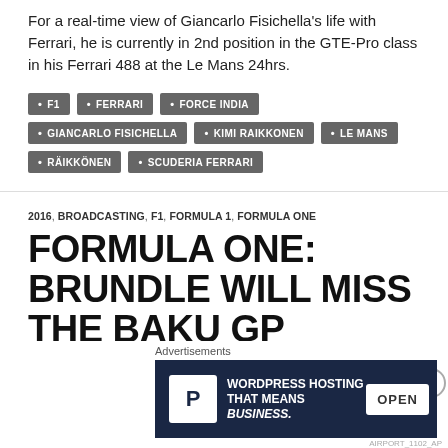For a real-time view of Giancarlo Fisichella's life with Ferrari, he is currently in 2nd position in the GTE-Pro class in his Ferrari 488 at the Le Mans 24hrs.
F1
FERRARI
FORCE INDIA
GIANCARLO FISICHELLA
KIMI RAIKKONEN
LE MANS
RÄIKKÖNEN
SCUDERIA FERRARI
2016, BROADCASTING, F1, FORMULA 1, FORMULA ONE
FORMULA ONE: BRUNDLE WILL MISS THE BAKU GP
[Figure (other): Advertisement banner for WordPress Hosting with P icon and OPEN sign image]